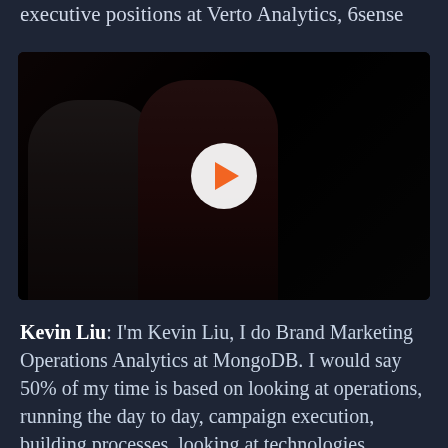executive positions at Verto Analytics, 6sense
[Figure (screenshot): Video thumbnail showing two people seated in a dark setting, with a circular white play button with an orange triangle in the center of the image]
Kevin Liu: I'm Kevin Liu, I do Brand Marketing Operations Analytics at MongoDB. I would say 50% of my time is based on looking at operations, running the day to day, campaign execution, building processes, looking at technologies, integration of those technologies